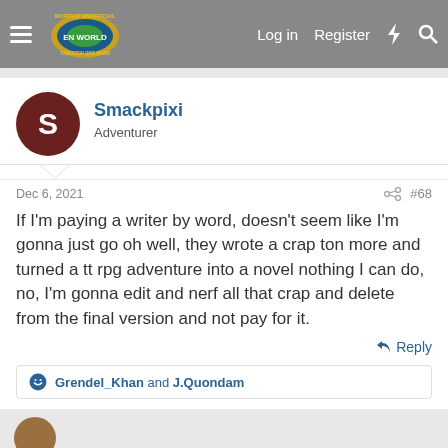Morrus' Unofficial Tabletop RPG News — Log in  Register
Smackpixi
Adventurer
Dec 6, 2021
#68
If I'm paying a writer by word, doesn't seem like I'm gonna just go oh well, they wrote a crap ton more and turned a tt rpg adventure into a novel nothing I can do, no, I'm gonna edit and nerf all that crap and delete from the final version and not pay for it.
Reply
Grendel_Khan and J.Quondam